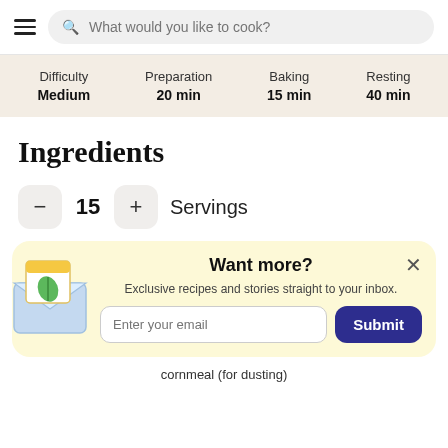What would you like to cook?
| Difficulty | Preparation | Baking | Resting |
| --- | --- | --- | --- |
| Medium | 20 min | 15 min | 40 min |
Ingredients
– 15 + Servings
Want more? Exclusive recipes and stories straight to your inbox. Enter your email. Submit.
cornmeal (for dusting)